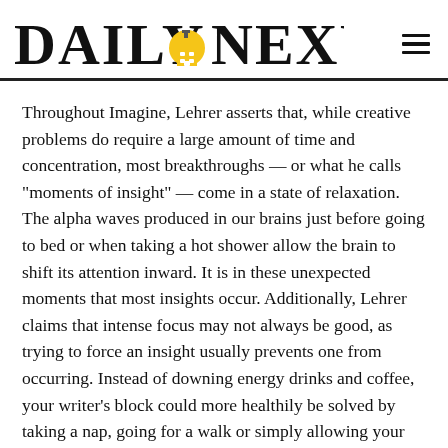DAILY NEXUS
Throughout Imagine, Lehrer asserts that, while creative problems do require a large amount of time and concentration, most breakthroughs — or what he calls “moments of insight” — come in a state of relaxation. The alpha waves produced in our brains just before going to bed or when taking a hot shower allow the brain to shift its attention inward. It is in these unexpected moments that most insights occur. Additionally, Lehrer claims that intense focus may not always be good, as trying to force an insight usually prevents one from occurring. Instead of downing energy drinks and coffee, your writer’s block could more healthily be solved by taking a nap, going for a walk or simply allowing your brain to shift attention away from that unsolvable problem. After all, it was only after Bob Dylan decided to quit music and move to a